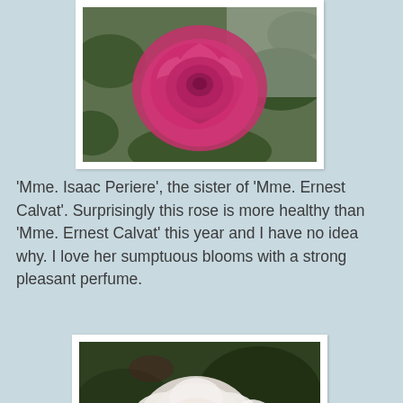[Figure (photo): Close-up photograph of a deep pink/magenta rose bloom with lush layered petals, green foliage in background, white photo frame border]
'Mme. Isaac Periere', the sister of 'Mme. Ernest Calvat'. Surprisingly this rose is more healthy than 'Mme. Ernest Calvat' this year and I have no idea why. I love her sumptuous blooms with a strong pleasant perfume.
[Figure (photo): Close-up photograph of a pale pink/white rose bloom with softly layered petals, dark green foliage in background, white photo frame border]